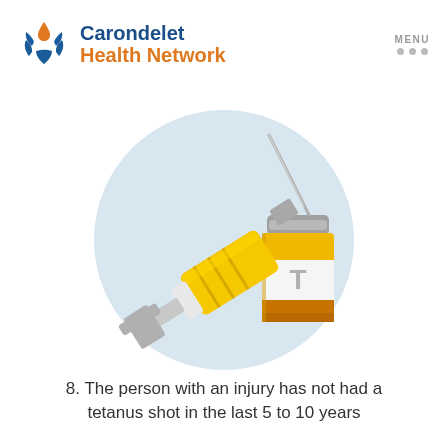Carondelet Health Network
[Figure (illustration): Illustration of a syringe (yellow barrel, gray needle and plunger) and a vaccine vial (yellow liquid, gray cap, white label with 'T') on a light blue circular background.]
8. The person with an injury has not had a tetanus shot in the last 5 to 10 years